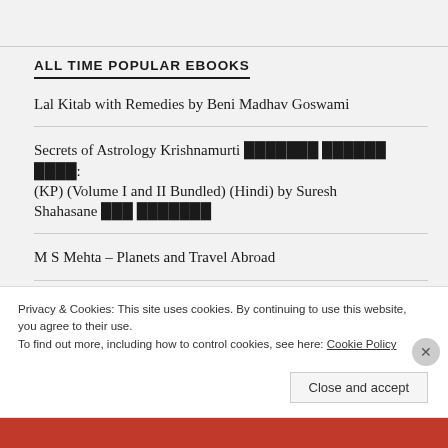ALL TIME POPULAR EBOOKS
Lal Kitab with Remedies by Beni Madhav Goswami
Secrets of Astrology Krishnamurti ███████ ██████ ████: (KP) (Volume I and II Bundled) (Hindi) by Suresh Shahasane ███ ███████
M S Mehta – Planets and Travel Abroad
Dinesh S Mathur – The Play of Planets in Houses VII – XII
Privacy & Cookies: This site uses cookies. By continuing to use this website, you agree to their use. To find out more, including how to control cookies, see here: Cookie Policy
Close and accept